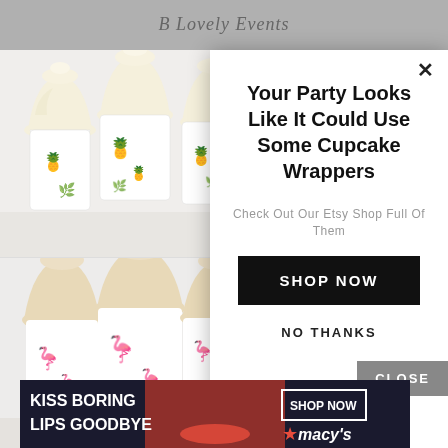B Lovely Events
[Figure (photo): Three cupcakes with pineapple-patterned wrappers and white frosting]
[Figure (photo): Three cupcakes with pink flamingo-patterned wrappers and tan frosting]
[Figure (photo): Three cupcakes with tropical/floral patterned wrappers and white frosting]
Your Party Looks Like It Could Use Some Cupcake Wrappers
Check Out Our Etsy Shop Full Of Them
SHOP NOW
NO THANKS
CLOSE
[Figure (screenshot): Macy's advertisement banner: KISS BORING LIPS GOODBYE with SHOP NOW button and Macy's star logo]